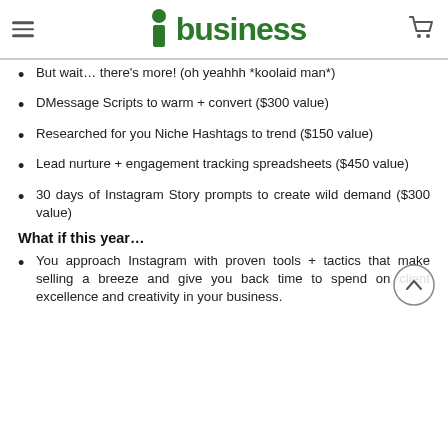ibusiness
But wait… there's more! (oh yeahhh *koolaid man*)
DMessage Scripts to warm + convert ($300 value)
Researched for you Niche Hashtags to trend ($150 value)
Lead nurture + engagement tracking spreadsheets ($450 value)
30 days of Instagram Story prompts to create wild demand ($300 value)
What if this year…
You approach Instagram with proven tools + tactics that make selling a breeze and give you back time to spend on client excellence and creativity in your business.